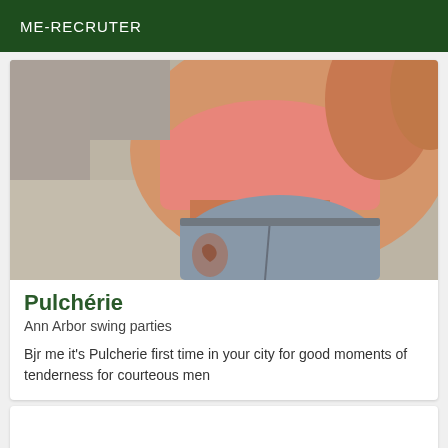ME-RECRUTER
[Figure (photo): Close-up photo of a person wearing a pink bandeau top and denim shorts, viewed from above at an angle, with a tattoo visible on the leg]
Pulchérie
Ann Arbor swing parties
Bjr me it's Pulcherie first time in your city for good moments of tenderness for courteous men